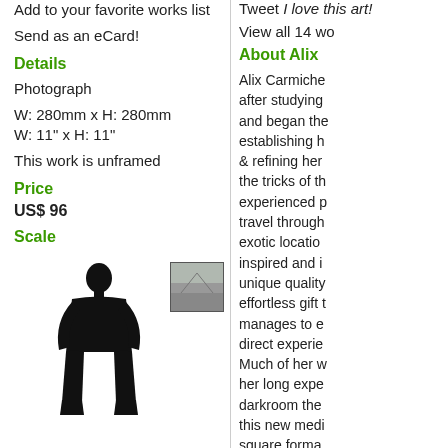Add to your favorite works list
Send as an eCard!
Details
Photograph
W: 280mm x H: 280mm
W: 11" x H: 11"
This work is unframed
Price
US$ 96
Scale
[Figure (illustration): Scale comparison showing a human silhouette next to a small thumbnail of the artwork photograph]
Tweet I love this art!
View all 14 wo
About Alix
Alix Carmiche after studying and began the establishing h & refining her the tricks of th experienced p travel through exotic locatio inspired and i unique quality effortless gift manages to e direct experie Much of her w her long expe darkroom the this new medi square forma past nine yea engaged on a the South Afri